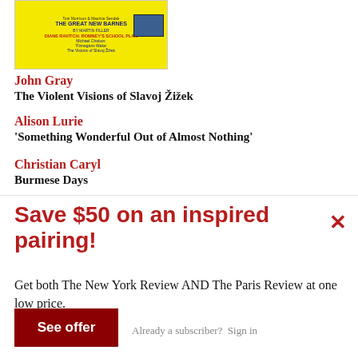[Figure (illustration): Magazine cover with yellow background showing 'THE GREAT NEW BARNES BY MARTIN FILLER' in blue, 'DIANE RAVITCH: ROMNEY'S SCHOOL PLAN' in red, Michael Chabon: Finnegans Wake, The Visions of Slavoj Zizek]
John Gray
The Violent Visions of Slavoj Žižek
Alison Lurie
'Something Wonderful Out of Almost Nothing'
Christian Caryl
Burmese Days
Save $50 on an inspired pairing!
Get both The New York Review AND The Paris Review at one low price.
See offer
Already a subscriber?  Sign in